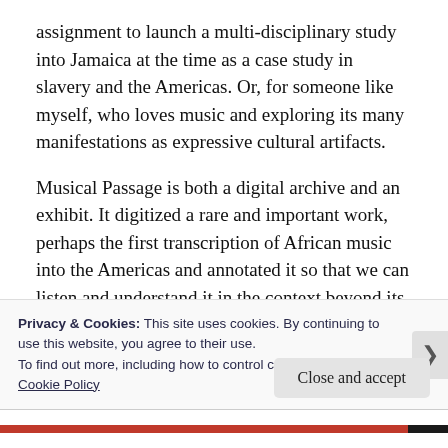assignment to launch a multi-disciplinary study into Jamaica at the time as a case study in slavery and the Americas. Or, for someone like myself, who loves music and exploring its many manifestations as expressive cultural artifacts.
Musical Passage is both a digital archive and an exhibit. It digitized a rare and important work, perhaps the first transcription of African music into the Americas and annotated it so that we can listen and understand it in the context beyond its initial appeal.  It may inspire others to develop interactive digital archive and exhibits from their own scholarly
Privacy & Cookies: This site uses cookies. By continuing to use this website, you agree to their use.
To find out more, including how to control cookies, see here: Cookie Policy
Close and accept